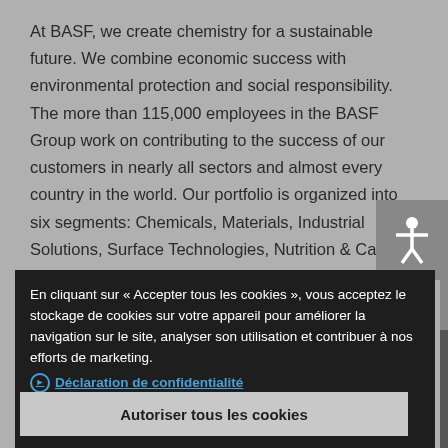At BASF, we create chemistry for a sustainable future. We combine economic success with environmental protection and social responsibility. The more than 115,000 employees in the BASF Group work on contributing to the success of our customers in nearly all sectors and almost every country in the world. Our portfolio is organized into six segments: Chemicals, Materials, Industrial Solutions, Surface Technologies, Nutrition & Care and Agricultural Solutions. BASF generated sales of more than €60 billion in 2017. BASF shares are traded on the stock exchanges in Frankfurt
En cliquant sur « Accepter tous les cookies », vous acceptez le stockage de cookies sur votre appareil pour améliorer la navigation sur le site, analyser son utilisation et contribuer à nos efforts de marketing.
Déclaration de confidentialité
Autoriser tous les cookies